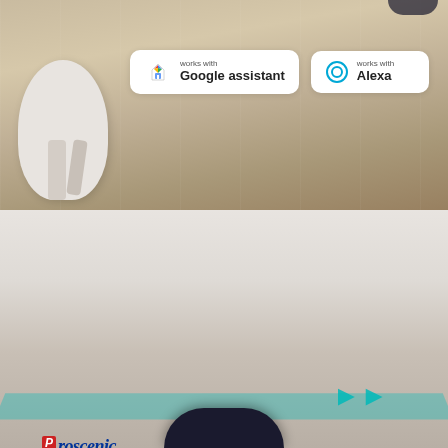[Figure (photo): Top half: photo of robot vacuum on wood floor with white side table. Two smart assistant badges shown: 'works with Google assistant' and 'works with Alexa'.]
[Figure (infographic): Proscenic logo, IPNAS 2.0 Intelligent Cleaning System header, and a comparison diagram showing systematic grid cleaning pattern (left, with checkmark) vs random chaotic pattern (right), separated by orange VS circle. Teal cleaning path track on floor with robot vacuum partially visible at bottom.]